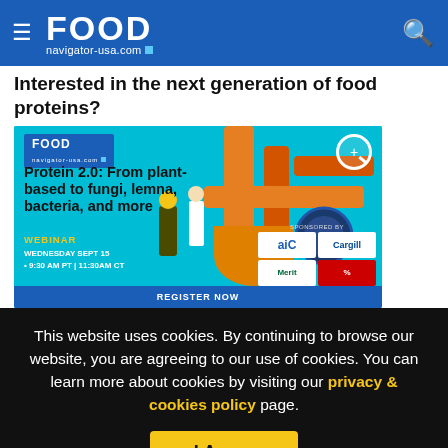FOOD navigator-usa.com
Interested in the next generation of food proteins?
[Figure (illustration): Webinar promotional banner for 'Protein 2.0: From plant-based to fungi, lemna, bacteria, and more'. FOOD navigator-usa.com logo top left. Wednesday Sept 15, 9:30 AM PT | 11:30 AM CT. Sponsors: AIC, Cargill, Merit, and one more. Register Now button at bottom. Teal factory/food processing illustration background.]
This website uses cookies. By continuing to browse our website, you are agreeing to our use of cookies. You can learn more about cookies by visiting our privacy & cookies policy page.
I Agree